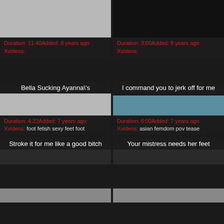Duration: 11:40Added: 8 years ago
Xvideos:
Duration: 3:00Added: 8 years ago
Xvideos:
Bella Sucking Ayanna\'s
Duration: 4:22Added: 7 years ago
Xvideos: foot fetish sexy feet foot
I command you to jerk off for me
Duration: 6:00Added: 7 years ago
Xvideos: asian femdom pov tease
Stroke it for me like a good bitch
Your mistress needs her feet